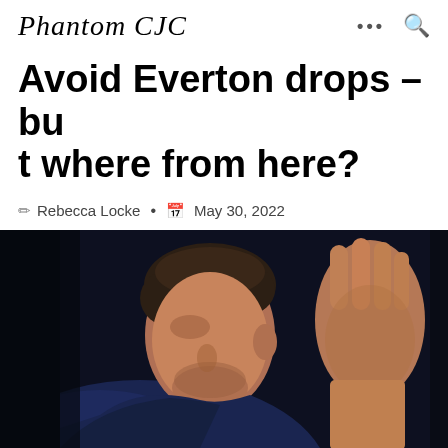Phantom CJC
Avoid Everton drops – but where from here?
Rebecca Locke • May 30, 2022
[Figure (photo): A man in a dark blue jacket seen from the side, with another person's raised hand visible on the right side, against a dark background.]